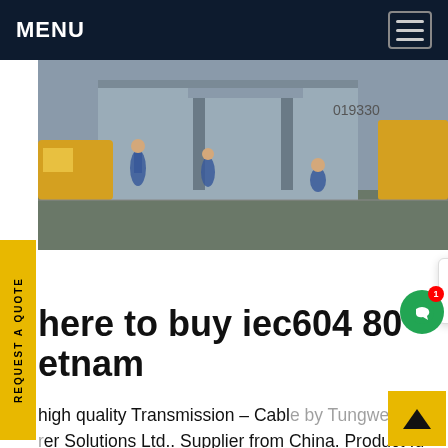MENU
[Figure (photo): Workers in blue uniforms on a construction/industrial site outdoors]
REQUEST A QUOTE
here to buy iec604 etnam
high quality Transmission - Cable by Tungwell er Solutions Ltd.. Supplier from China. Product Id 9672. Supplier: Solar pv panel, solar inverter, solar , solar panel mounting structure, ac cable, dc cable, solar transformer, lightning arrester, lt switchgear, electrical distribution boards, solar streetlight, solar pump, solar battery, street light pole, junction box. Get price...